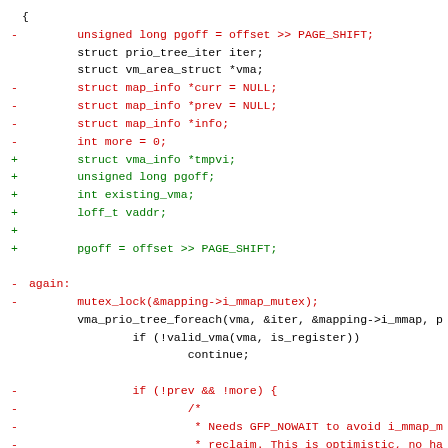Code diff showing changes to a C source file including variable declarations (pgoff, map_info, vma_info, etc.) and function calls (mutex_lock, vma_prio_tree_foreach, valid_vma).